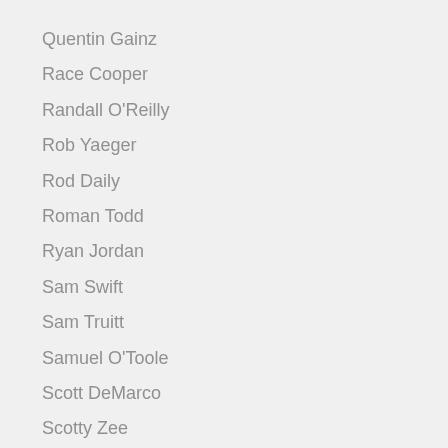Quentin Gainz
Race Cooper
Randall O'Reilly
Rob Yaeger
Rod Daily
Roman Todd
Ryan Jordan
Sam Swift
Sam Truitt
Samuel O'Toole
Scott DeMarco
Scotty Zee
Seamus O'Reilly